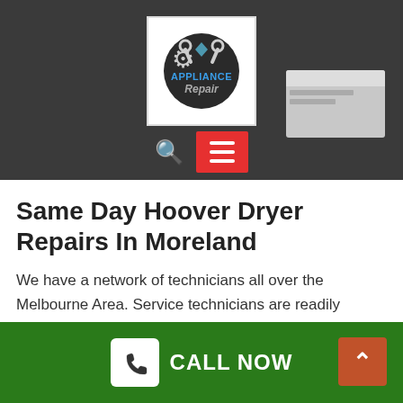[Figure (screenshot): Website header screenshot showing an Appliance Repair logo centered on a dark grey background, with a search icon and red hamburger menu button at the bottom]
Same Day Hoover Dryer Repairs In Moreland
We have a network of technicians all over the Melbourne Area. Service technicians are readily available.
Certified And Insured Technicians
Each service technician is highly trained and totally
[Figure (infographic): Green footer bar with white phone icon box, CALL NOW text in white, and a red/brown up-arrow button on the right]